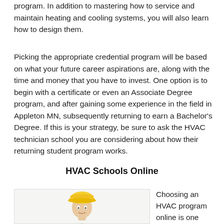program. In addition to mastering how to service and maintain heating and cooling systems, you will also learn how to design them.
Picking the appropriate credential program will be based on what your future career aspirations are, along with the time and money that you have to invest. One option is to begin with a certificate or even an Associate Degree program, and after gaining some experience in the field in Appleton MN, subsequently returning to earn a Bachelor's Degree. If this is your strategy, be sure to ask the HVAC technician school you are considering about how their returning student program works.
HVAC Schools Online
[Figure (photo): Person wearing a yellow hard hat, shown from the shoulders up, white background]
Choosing an HVAC program online is one option in